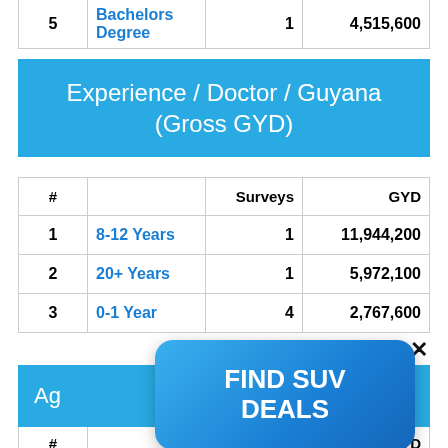| # |  | Surveys | GYD |
| --- | --- | --- | --- |
| 5 | Bachelors Degree | 1 | 4,515,600 |
Experience / Doctor / Guyana (Gross GYD)
| # |  | Surveys | GYD |
| --- | --- | --- | --- |
| 1 | 8-12 Years | 1 | 11,944,200 |
| 2 | 20+ Years | 1 | 5,972,100 |
| 3 | 0-1 Year | 4 | 2,767,600 |
[Figure (screenshot): Close button X]
Age / Doctor / Guyana (Gross GYD)
| # |  | Surveys | GYD |
| --- | --- | --- | --- |
[Figure (infographic): FIND SUV DEALS advertisement overlay button]